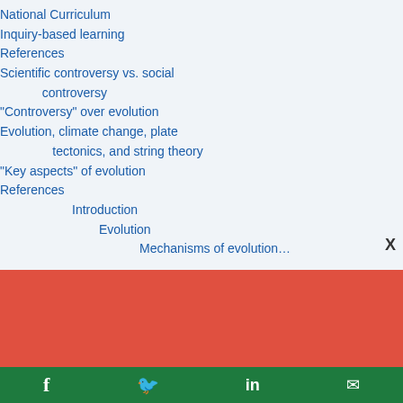National Curriculum
Inquiry-based learning
References
Scientific controversy vs. social controversy
"Controversy" over evolution
Evolution, climate change, plate tectonics, and string theory
"Key aspects" of evolution
References
Introduction
Evolution
Mechanisms of evolution…
[Figure (other): Red/coral colored banner section]
Support climate change
Social share bar with Facebook, Twitter, LinkedIn, Email icons